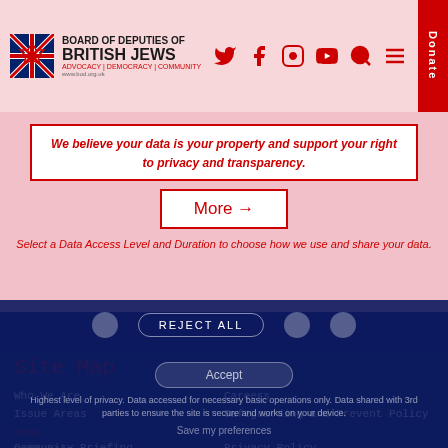Board of Deputies of British Jews – ADVOCACY | DEMOCRACY | COMMUNITY
We believe your data is your property and support your right to privacy and transparency.
More →
Select a Data Access Level and Duration to choose how we use and share your data.
REJECT ALL
Site Map
Who We Are
Issue Areas
News
Resources
Get Involved
Community Briefing
Deputies Area
Contact Us
Careers
Safeguarding and Prevent Policy
Privacy Policy
Complaints Policy
Our Constitution
Deputies Code of Conduct